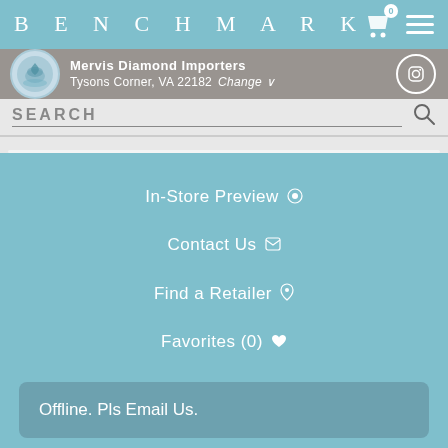BENCHMARK
Mervis Diamond Importers
Tysons Corner, VA 22182  Change
SEARCH
In-Store Preview
Contact Us
Find a Retailer
Favorites (0)
Offline. Pls Email Us.